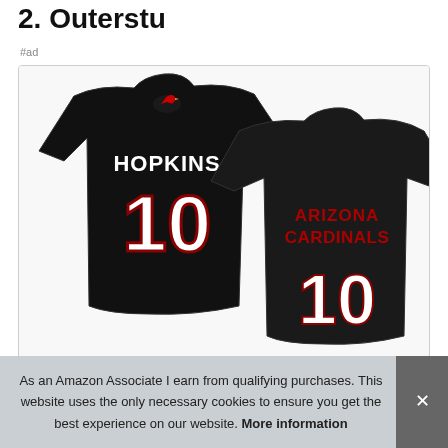2. Outerstu...
#ad
[Figure (photo): Two black Arizona Cardinals NFL t-shirts. Left shirt shows the back with 'HOPKINS' name and number 10 in white with a Cardinals logo. Right shirt shows the front with 'ARIZONA CARDINALS' in red text and number 10 in white.]
As an Amazon Associate I earn from qualifying purchases. This website uses the only necessary cookies to ensure you get the best experience on our website. More information